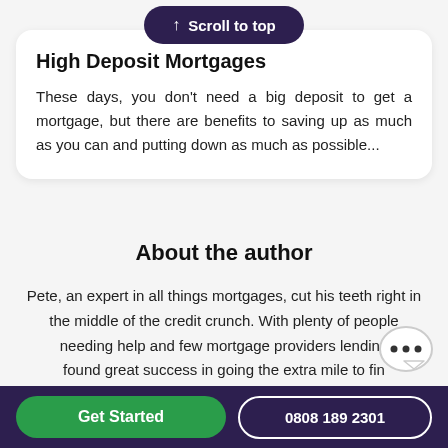[Figure (other): Scroll to top button — dark purple pill-shaped button with upward arrow and text 'Scroll to top']
High Deposit Mortgages
These days, you don't need a big deposit to get a mortgage, but there are benefits to saving up as much as you can and putting down as much as possible...
About the author
Pete, an expert in all things mortgages, cut his teeth right in the middle of the credit crunch. With plenty of people needing help and few mortgage providers lending found great success in going the extra mile to fin
Get Started   0808 189 2301